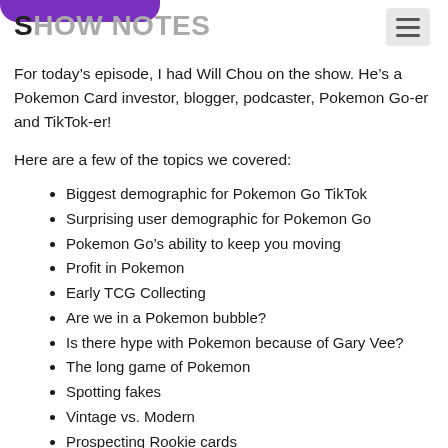SHOW NOTES
For today’s episode, I had Will Chou on the show. He’s a Pokemon Card investor, blogger, podcaster, Pokemon Go-er and TikTok-er!
Here are a few of the topics we covered:
Biggest demographic for Pokemon Go TikTok
Surprising user demographic for Pokemon Go
Pokemon Go’s ability to keep you moving
Profit in Pokemon
Early TCG Collecting
Are we in a Pokemon bubble?
Is there hype with Pokemon because of Gary Vee?
The long game of Pokemon
Spotting fakes
Vintage vs. Modern
Prospecting Rookie cards